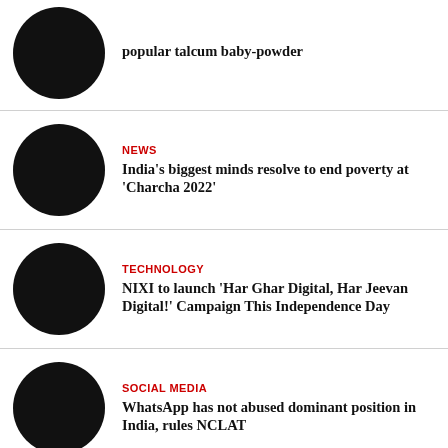[Figure (illustration): Black circular thumbnail image for first news item (talcum baby-powder)]
popular talcum baby-powder
[Figure (illustration): Black circular thumbnail image for news item about Charcha 2022]
NEWS
India's biggest minds resolve to end poverty at 'Charcha 2022'
[Figure (illustration): Black circular thumbnail image for technology news item]
TECHNOLOGY
NIXI to launch 'Har Ghar Digital, Har Jeevan Digital!' Campaign This Independence Day
[Figure (illustration): Black circular thumbnail image for social media news item]
SOCIAL MEDIA
WhatsApp has not abused dominant position in India, rules NCLAT